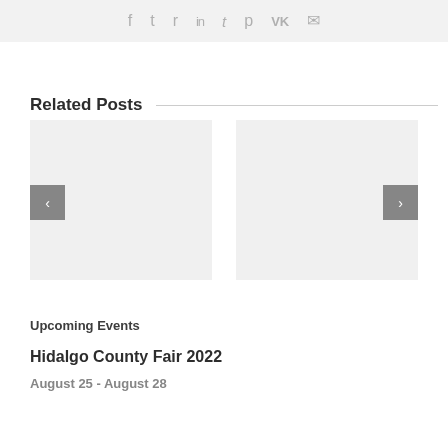[Figure (other): Social media share icons bar: Facebook, Twitter, Reddit, LinkedIn, Tumblr, Pinterest, VK, Email]
Related Posts
[Figure (other): Left image placeholder (gray rectangle) with left navigation arrow button]
[Figure (other): Right image placeholder (gray rectangle) with right navigation arrow button]
Upcoming Events
Hidalgo County Fair 2022
August 25 - August 28